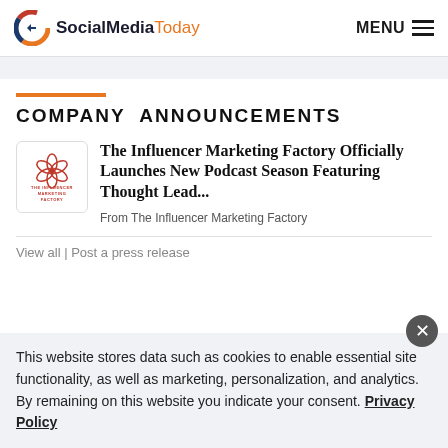SocialMediaToday  MENU
COMPANY ANNOUNCEMENTS
The Influencer Marketing Factory Officially Launches New Podcast Season Featuring Thought Lead...
From The Influencer Marketing Factory
View all | Post a press release
This website stores data such as cookies to enable essential site functionality, as well as marketing, personalization, and analytics. By remaining on this website you indicate your consent. Privacy Policy